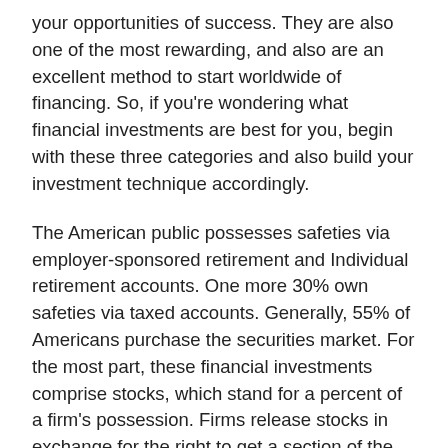your opportunities of success. They are also one of the most rewarding, and also are an excellent method to start worldwide of financing. So, if you're wondering what financial investments are best for you, begin with these three categories and also build your investment technique accordingly.
The American public possesses safeties via employer-sponsored retirement and Individual retirement accounts. One more 30% own safeties via taxed accounts. Generally, 55% of Americans purchase the securities market. For the most part, these financial investments comprise stocks, which stand for a percent of a firm's possession. Firms release stocks in exchange for the right to get a section of the company's supply. The firm uses this money to fund its operations, as well as in return, the shareholder obtains financial settlement, such as returns.
Similar to any type of investment, there are dangers entailed